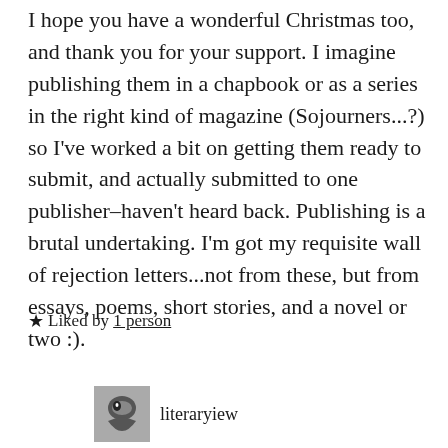I hope you have a wonderful Christmas too, and thank you for your support. I imagine publishing them in a chapbook or as a series in the right kind of magazine (Sojourners...?) so I've worked a bit on getting them ready to submit, and actually submitted to one publisher–haven't heard back. Publishing is a brutal undertaking. I'm got my requisite wall of rejection letters...not from these, but from essays, poems, short stories, and a novel or two :).
★ Liked by 1 person
literaryiew